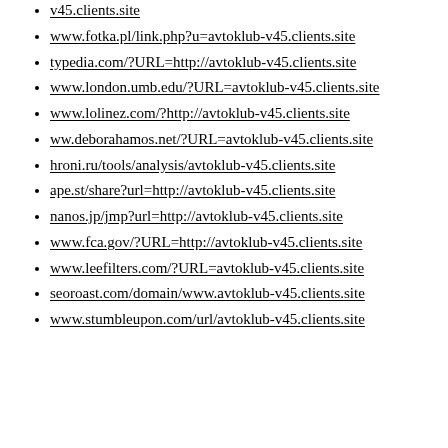v45.clients.site
www.fotka.pl/link.php?u=avtoklub-v45.clients.site
typedia.com/?URL=http://avtoklub-v45.clients.site
www.london.umb.edu/?URL=avtoklub-v45.clients.site
www.lolinez.com/?http://avtoklub-v45.clients.site
ww.deborahamos.net/?URL=avtoklub-v45.clients.site
hroni.ru/tools/analysis/avtoklub-v45.clients.site
ape.st/share?url=http://avtoklub-v45.clients.site
nanos.jp/jmp?url=http://avtoklub-v45.clients.site
www.fca.gov/?URL=http://avtoklub-v45.clients.site
www.leefilters.com/?URL=avtoklub-v45.clients.site
seoroast.com/domain/www.avtoklub-v45.clients.site
www.stumbleupon.com/url/avtoklub-v45.clients.site